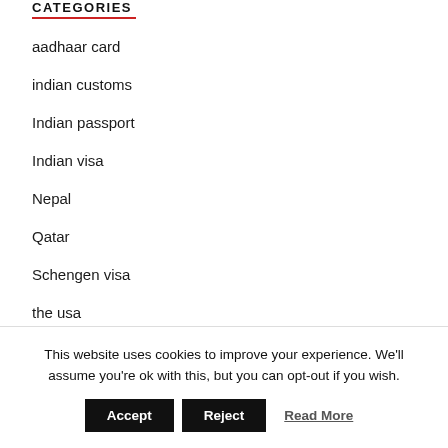CATEGORIES
aadhaar card
indian customs
Indian passport
Indian visa
Nepal
Qatar
Schengen visa
the usa
Uncategorized
This website uses cookies to improve your experience. We'll assume you're ok with this, but you can opt-out if you wish.
Accept | Reject | Read More